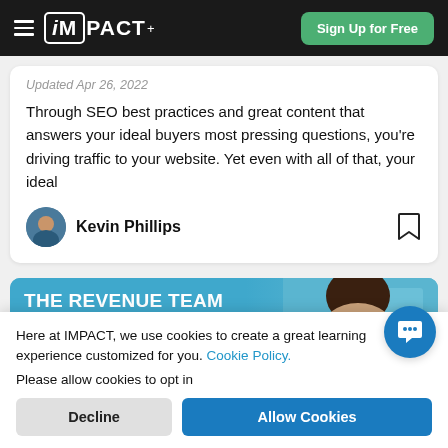iMPACT+ | Sign Up for Free
Updated Apr 26, 2022
Through SEO best practices and great content that answers your ideal buyers most pressing questions, you're driving traffic to your website. Yet even with all of that, your ideal
Kevin Phillips
[Figure (photo): Banner image for 'The Revenue Team Approach To' article with person in background]
Here at IMPACT, we use cookies to create a great learning experience customized for you. Cookie Policy.

Please allow cookies to opt in
Decline
Allow Cookies